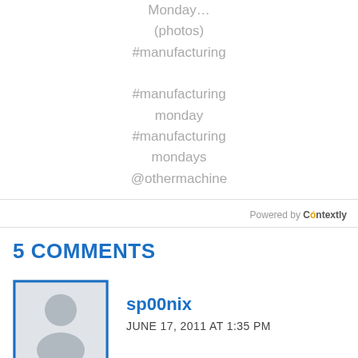Monday...
(photos)
#manufacturing

#manufacturing
monday
#manufacturing
mondays
@othermachine
Powered by Contextly
5 COMMENTS
[Figure (illustration): Default gray avatar placeholder image with silhouette of a person]
sp00nix
JUNE 17, 2011 AT 1:35 PM